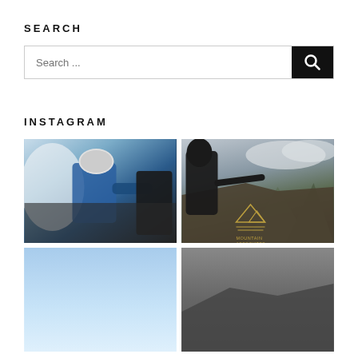SEARCH
[Figure (screenshot): Search input box with placeholder text 'Search ...' and a black search button with magnifying glass icon on the right]
INSTAGRAM
[Figure (photo): Person in blue jacket and white helmet climbing a snowy/icy rock face]
[Figure (photo): Person in dark clothing pointing at rocky mountain ridge with cloudy sky, mountain association logo visible]
[Figure (photo): Light blue sky, partial view]
[Figure (photo): Grey/dark mountain scene, partial view]